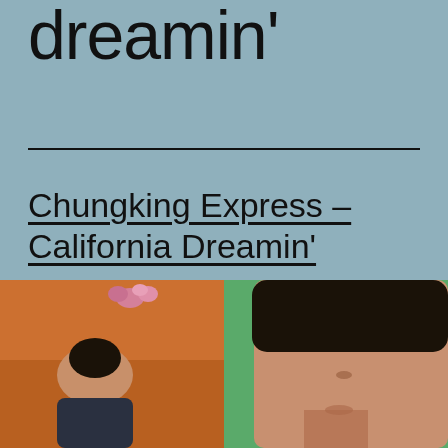dreamin'
Chungking Express – California Dreamin'
[Figure (photo): Two film stills side by side: left shows a person in an orange-toned scene, right shows a person with short dark hair looking upward against a green background.]